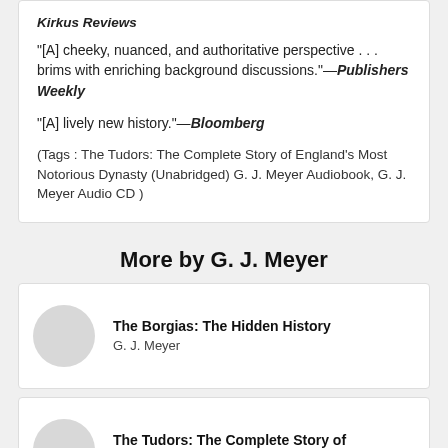Kirkus Reviews
"[A] cheeky, nuanced, and authoritative perspective . . . brims with enriching background discussions."—Publishers Weekly
"[A] lively new history."—Bloomberg
(Tags : The Tudors: The Complete Story of England's Most Notorious Dynasty (Unabridged) G. J. Meyer Audiobook, G. J. Meyer Audio CD )
More by G. J. Meyer
The Borgias: The Hidden History
G. J. Meyer
The Tudors: The Complete Story of
G. J. Meyer